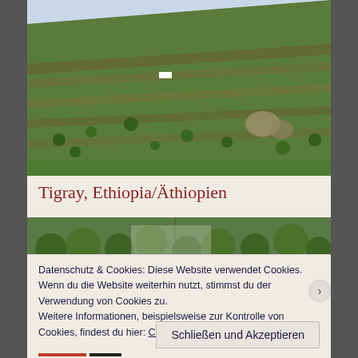[Figure (photo): Terraced green hillside in Tigray, Ethiopia/Äthiopien with a white vehicle visible on a dirt road amid rocky terrain and scattered trees]
Tigray, Ethiopia/Äthiopien
[Figure (photo): Dense green forest/hillside landscape, partially obscured by cookie consent banner]
Datenschutz & Cookies: Diese Website verwendet Cookies. Wenn du die Website weiterhin nutzt, stimmst du der Verwendung von Cookies zu.
Weitere Informationen, beispielsweise zur Kontrolle von Cookies, findest du hier:
Cookie-Richtlinie
Schließen und Akzeptieren